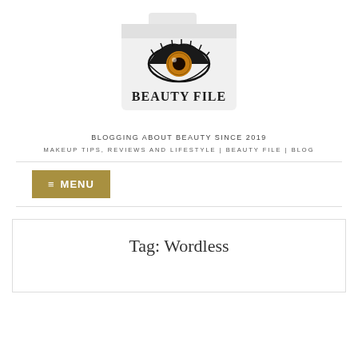[Figure (logo): Beauty File blog logo: a folder icon with an eye illustration and the text BEAUTY FILE]
BLOGGING ABOUT BEAUTY SINCE 2019
MAKEUP TIPS, REVIEWS AND LIFESTYLE | BEAUTY FILE | BLOG
≡ MENU
Tag: Wordless